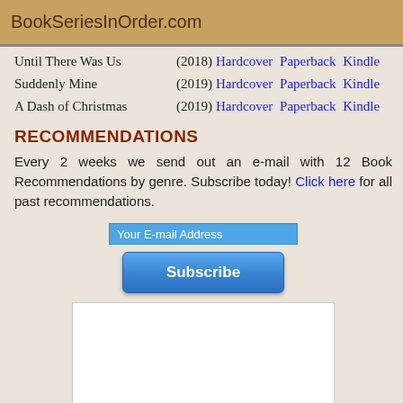BookSeriesInOrder.com
Until There Was Us (2018) Hardcover Paperback Kindle
Suddenly Mine (2019) Hardcover Paperback Kindle
A Dash of Christmas (2019) Hardcover Paperback Kindle
RECOMMENDATIONS
Every 2 weeks we send out an e-mail with 12 Book Recommendations by genre. Subscribe today! Click here for all past recommendations.
[Figure (other): Email subscription input field labeled 'Your E-mail Address' with a blue Subscribe button below it]
[Figure (other): White advertisement box area]